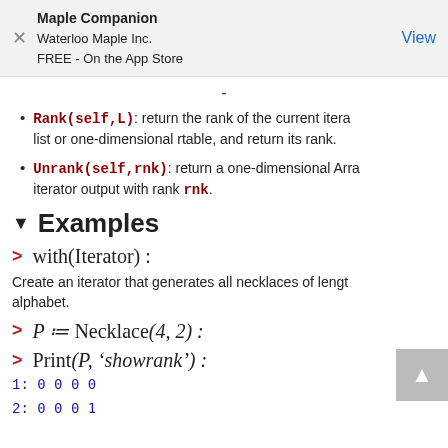Maple Companion
Waterloo Maple Inc.
FREE - On the App Store
View
Rank(self,L): return the rank of the current itera... list or one-dimensional rtable, and return its rank.
Unrank(self,rnk): return a one-dimensional Arra... iterator output with rank rnk.
Examples
Create an iterator that generates all necklaces of length ... alphabet.
1: 0 0 0 0
2: 0 0 0 1